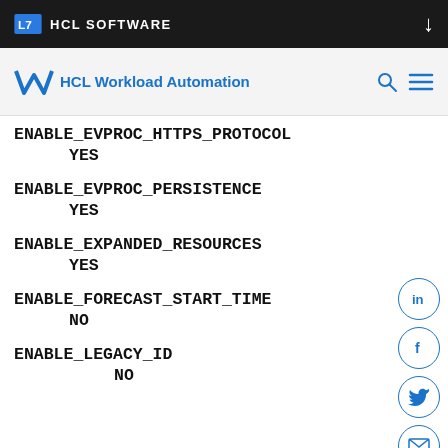HCL SOFTWARE
HCL Workload Automation
ENABLE_EVPROC_HTTPS_PROTOCOL
      YES
ENABLE_EVPROC_PERSISTENCE
      YES
ENABLE_EXPANDED_RESOURCES
      YES
ENABLE_FORECAST_START_TIME
      NO
ENABLE_LEGACY_ID
      NO